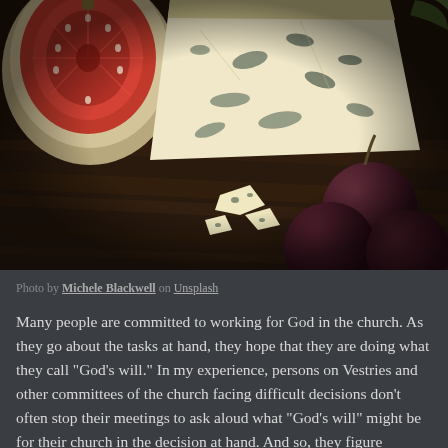[Figure (photo): Food photography showing a sliced fig, wedge of blue cheese, crumbled blue cheese pieces, and dark red grapes on a wooden board background.]
Photo by Michele Blackwell on Unsplash
Many people are committed to working for God in the church. As they go about the tasks at hand, they hope that they are doing what they call "God's will." In my experience, persons on Vestries and other committees of the church facing difficult decisions don't often stop their meetings to ask aloud what "God's will" might be for their church in the decision at hand. And so, they figure